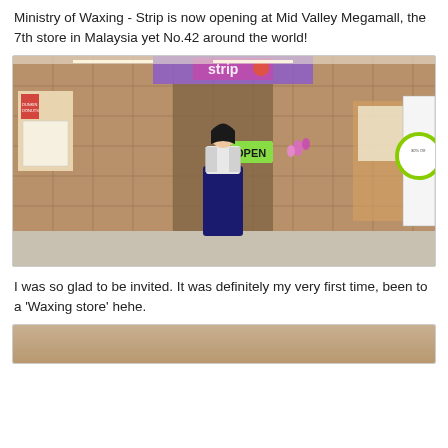Ministry of Waxing - Strip is now opening at Mid Valley Megamall, the 7th store in Malaysia yet No.42 around the world!
[Figure (photo): A young woman standing in front of the Strip Ministry of Waxing store entrance at Mid Valley Megamall. The store has wooden tile wall cladding, an 'OPEN' sign, orchid flowers, and promotional signage. The woman is wearing a white top and navy blue maxi skirt.]
I was so glad to be invited. It was definitely my very first time, been to a 'Waxing store' hehe.
[Figure (photo): Partial view of another photo, showing what appears to be the interior of the waxing store.]